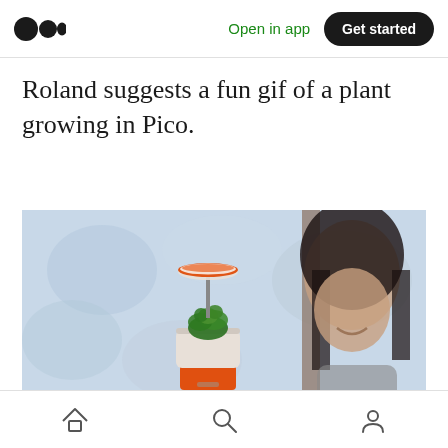Medium logo | Open in app | Get started
Roland suggests a fun gif of a plant growing in Pico.
[Figure (photo): A person holding a small potted succulent plant in an orange and white cylindrical smart planter device with an orange circular LED light on a stem above the plant. A smiling woman with long dark hair is blurred in the background near a window.]
Home | Search | Profile navigation icons